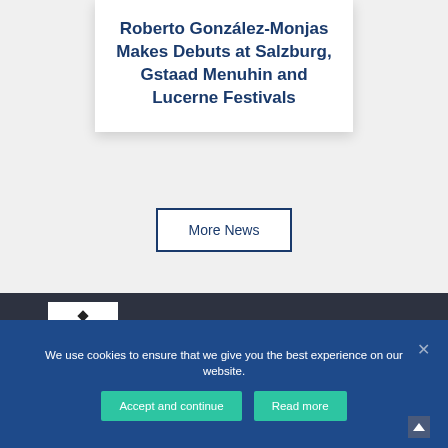Roberto González-Monjas Makes Debuts at Salzburg, Gstaad Menuhin and Lucerne Festivals
More News
[Figure (logo): Small white rectangle with a diamond/bow-tie symbol in the center, on a dark background]
We use cookies to ensure that we give you the best experience on our website.
Accept and continue
Read more